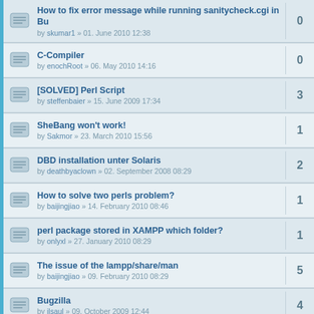How to fix error message while running sanitycheck.cgi in Bu | by skumar1 » 01. June 2010 12:38 | 0
C-Compiler | by enochRoot » 06. May 2010 14:16 | 0
[SOLVED] Perl Script | by steffenbaier » 15. June 2009 17:34 | 3
SheBang won't work! | by Sakmor » 23. March 2010 15:56 | 1
DBD installation unter Solaris | by deathbyaclown » 02. September 2008 08:29 | 2
How to solve two perls problem? | by baijingjiao » 14. February 2010 08:46 | 1
perl package stored in XAMPP which folder? | by onlyxl » 27. January 2010 08:29 | 1
The issue of the lampp/share/man | by baijingjiao » 09. February 2010 08:29 | 5
Bugzilla | by ilsaul » 09. October 2009 12:44 | 4
Aufruf von Perlseite öffnet nur Downloadfenster | by MichaelL » 18. January 2010 11:13 | 7
AWStats Auswertung vereinzelt nicht möglich | by reflow » 13. January 2010 10:31 | 0